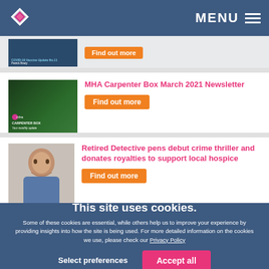[Figure (logo): MHA logo - diamond shape with pink/magenta colors]
MENU
[Figure (screenshot): Partial article thumbnail - COVID-19 Vaccine Update No.11 by Patrick Brady with Find out more button]
MHA Carpenter Box March 2021 Newsletter
Find out more
[Figure (photo): MHA Carpenter Box thumbnail - Your monthly update]
Retired Detective pens debut crime thriller and donates royalties to support local hospice
Find out more
[Figure (photo): Photo of a man in blue shirt holding a book]
This site uses cookies.
Some of these cookies are essential, while others help us to improve your experience by providing insights into how the site is being used. For more detailed information on the cookies we use, please check our Privacy Policy
Select preferences
Accept all